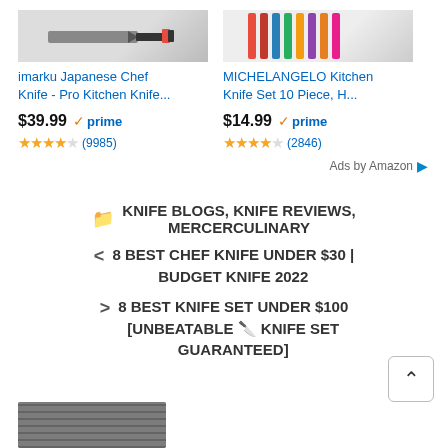[Figure (screenshot): Amazon product listing for imarku Japanese Chef Knife - Pro Kitchen Knife... with price $39.99, Prime badge, and 4.5 star rating (9985 reviews)]
[Figure (screenshot): Amazon product listing for MICHELANGELO Kitchen Knife Set 10 Piece, H... with price $14.99, Prime badge, and 4.5 star rating (2846 reviews)]
Ads by Amazon
KNIFE BLOGS, KNIFE REVIEWS, MERCERCULINARY
< 8 BEST CHEF KNIFE UNDER $30 | BUDGET KNIFE 2022
> 8 BEST KNIFE SET UNDER $100 [UNBEATABLE 🔪 KNIFE SET GUARANTEED]
[Figure (photo): Partial image of a knife at the bottom of the page]